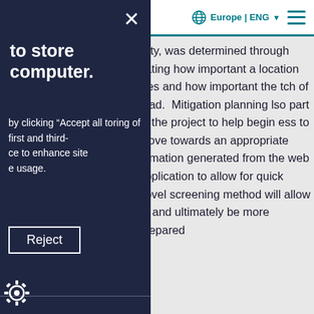Europe | ENG
ality, was determined through uating how important a location ities and how important the tch of road. Mitigation planning lso part of the project to help begin ess to move towards an appropriate ormation generated from the web application to allow for quick novel screening method will allow er and ultimately be more prepared
e?
r would like to discuss a project,
to store computer.
by clicking "Accept all toring of first and third- ce to enhance site e usage.
Reject
re functionality such as ecure areas. The ithout these hanging your